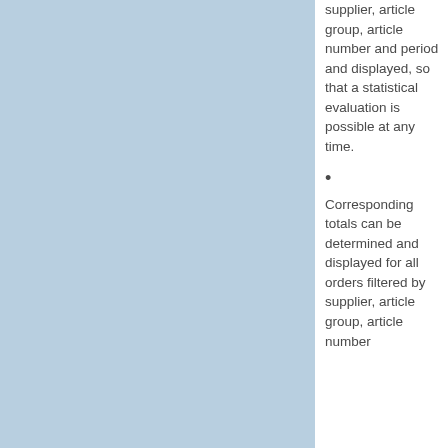supplier, article group, article number and period and displayed, so that a statistical evaluation is possible at any time.
Corresponding totals can be determined and displayed for all orders filtered by supplier, article group, article number